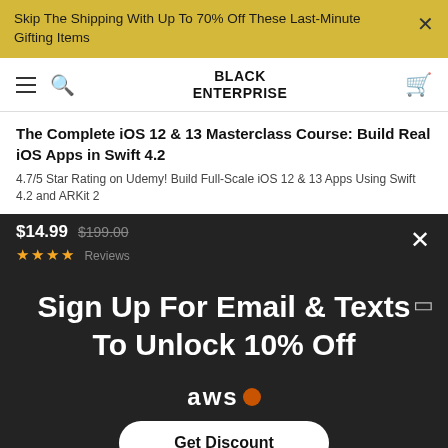Skip The Shipping With Up To 70% Off These Last-Minute Gifting Items
BLACK ENTERPRISE
The Complete iOS 12 & 13 Masterclass Course: Build Real iOS Apps in Swift 4.2
4.7/5 Star Rating on Udemy! Build Full-Scale iOS 12 & 13 Apps Using Swift 4.2 and ARKit 2
$14.99  $199.00
★★★★ Reviews
Sign Up For Email & Texts To Unlock 10% Off
[Figure (logo): AWS logo with orange dot]
Get Discount
DevOps